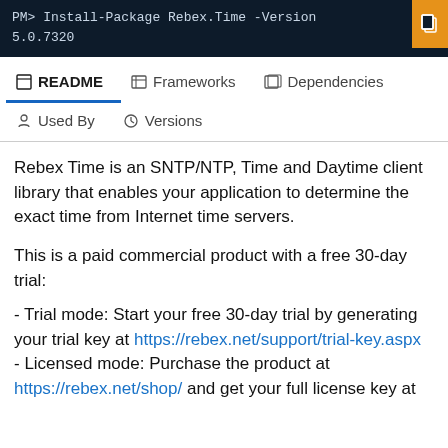[Figure (screenshot): Dark navy terminal/command bar showing: PM> Install-Package Rebex.Time -Version 5.0.7320 with an orange copy button on the right]
README   Frameworks   Dependencies   Used By   Versions
Rebex Time is an SNTP/NTP, Time and Daytime client library that enables your application to determine the exact time from Internet time servers.
This is a paid commercial product with a free 30-day trial:
- Trial mode: Start your free 30-day trial by generating your trial key at https://rebex.net/support/trial-key.aspx
- Licensed mode: Purchase the product at https://rebex.net/shop/ and get your full license key at